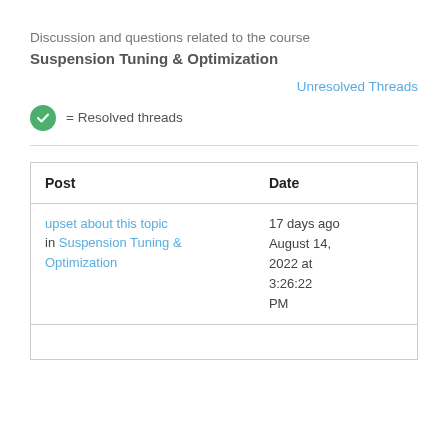Discussion and questions related to the course
Suspension Tuning & Optimization
Unresolved Threads
= Resolved threads
| Post | Date |
| --- | --- |
| upset about this topic
in Suspension Tuning & Optimization | 17 days ago
August 14, 2022 at 3:26:22 PM |